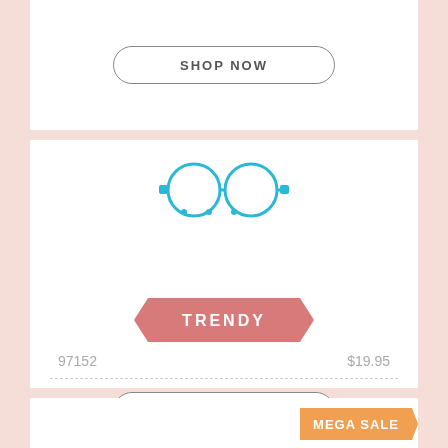[Figure (illustration): SHOP NOW button with rounded rectangle border in top card section]
[Figure (illustration): Eyeglasses icon in cyan/blue with round lenses and side connectors, with three dots below]
[Figure (illustration): TRENDY label on a pink ribbon banner]
97152
$19.95
[Figure (illustration): SHOP NOW button with rounded rectangle border in middle card section]
[Figure (illustration): MEGA SALE orange ribbon banner at top right of bottom card]